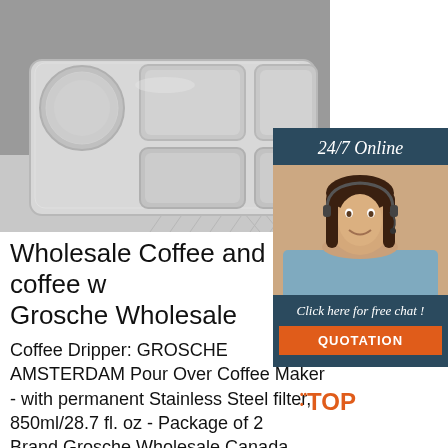[Figure (photo): Stainless steel divided food tray/lunch tray with multiple compartments, photographed on a geometric patterned surface in black and white]
[Figure (photo): Chat widget showing a woman with a headset smiling, with '24/7 Online' header, 'Click here for free chat!' text, and an orange QUOTATION button]
Wholesale Coffee and coffee w... Grosche Wholesale
Coffee Dripper: GROSCHE AMSTERDAM Pour Over Coffee Maker - with permanent Stainless Steel filter, 850ml/28.7 fl. oz - Package of 2 Brand Grosche Wholesale Canada SKU: GR 346